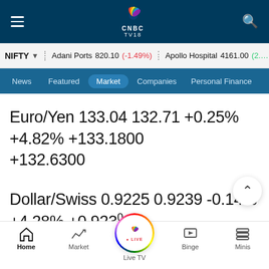CNBC TV18
NIFTY ▾  Adani Ports 820.10 (-1.49%)  Apollo Hospital 4161.00 (2.…
News  Featured  Market  Companies  Personal Finance
Euro/Yen 133.04 132.71 +0.25% +4.82% +133.1800 +132.6300
Dollar/Swiss 0.9225 0.9239 -0.14% +4.28% +0.9230 +0.9185
Home  Market  Live TV  Binge  Minis